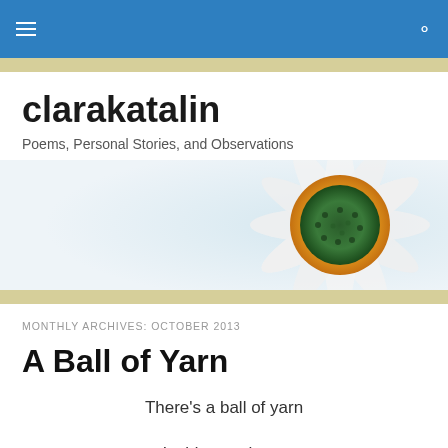clarakatalin — navigation bar
clarakatalin
Poems, Personal Stories, and Observations
[Figure (photo): Close-up photograph of a daisy flower, showing white petals and a detailed green and yellow center, with a light blue-white background]
MONTHLY ARCHIVES: OCTOBER 2013
A Ball of Yarn
There's a ball of yarn

Inside my chest;